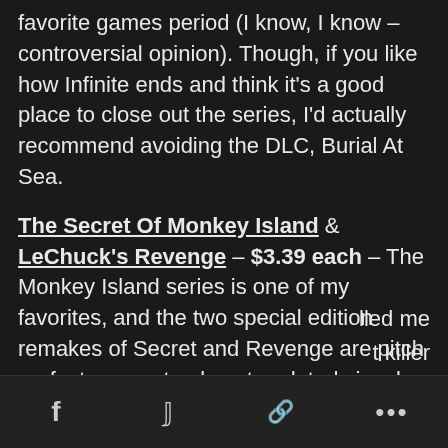favorite games period (I know, I know – controversial opinion). Though, if you like how Infinite ends and think it's a good place to close out the series, I'd actually recommend avoiding the DLC, Burial At Sea.
The Secret Of Monkey Island & LeChuck's Revenge – $3.39 each – The Monkey Island series is one of my favorites, and the two special edition remakes of Secret and Revenge are pitch perfect; you not only get updated visuals and voiceovers, but you can turn all that off with a simple button press and return to the good old DOS days.
Dino D-Day – $0.99 – It's dinosaurs in World War II. Think of it as a more historically accurate version of Day of Defeat.
Remember Me – $5.99 – This was one of my surprises ...lled me t killer
f  🐦  🔗  ...